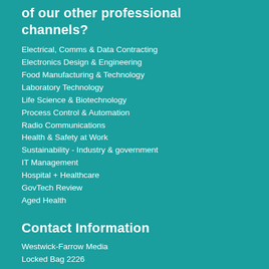of our other professional channels?
Electrical, Comms & Data Contracting
Electronics Design & Engineering
Food Manufacturing & Technology
Laboratory Technology
Life Science & Biotechnology
Process Control & Automation
Radio Communications
Health & Safety at Work
Sustainability - Industry & government
IT Management
Hospital + Healthcare
GovTech Review
Aged Health
Contact Information
Westwick-Farrow Media
Locked Bag 2226
North Ryde BC NSW 1670
ABN: 22 152 305 336
www.wfmedia.com.au